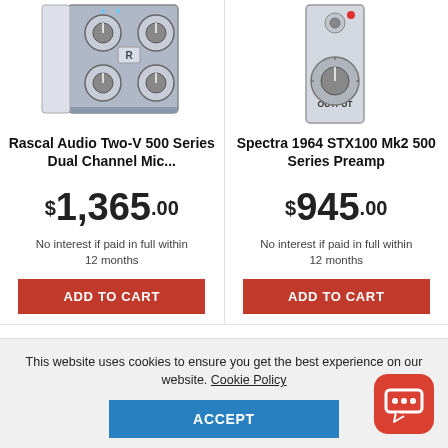[Figure (photo): Photo of Rascal Audio Two-V 500 Series Dual Channel Mic Preamp hardware unit with knobs]
[Figure (photo): Photo of Spectra 1964 STX100 Mk2 500 Series Preamp hardware unit with OUTPUT knob]
Rascal Audio Two-V 500 Series Dual Channel Mic...
Spectra 1964 STX100 Mk2 500 Series Preamp
$1,365.00
$945.00
No interest if paid in full within 12 months
No interest if paid in full within 12 months
ADD TO CART
ADD TO CART
This website uses cookies to ensure you get the best experience on our website. Cookie Policy
ACCEPT